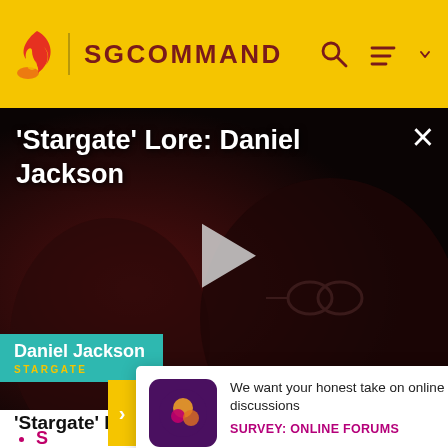SGCOMMAND
'Stargate' Lore: Daniel Jackson
[Figure (screenshot): Video player showing two people in a dark scene. A play button is visible in the center. A name badge overlay reads 'Daniel Jackson / STARGATE'. Title reads ''Stargate' Lore: Daniel Jackson'. Close button (×) in top right.]
'Stargate' Lore: Daniel Jackson
We want your honest take on online discussions
SURVEY: ONLINE FORUMS